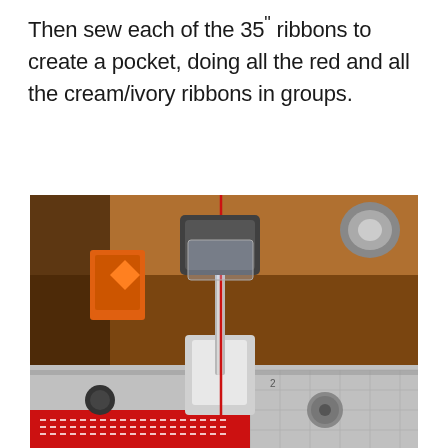Then sew each of the 35" ribbons to create a pocket, doing all the red and all the cream/ivory ribbons in groups.
[Figure (photo): Close-up photograph of a sewing machine needle and presser foot actively sewing a red ribbon. Red thread is visible coming down through the needle. The ribbon being sewn is red with white dashed stitching. The sewing machine plate with measurement markings is visible. Background shows warm brown tones of the machine body.]